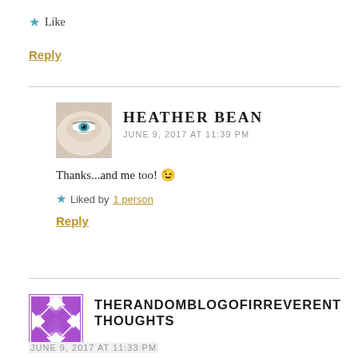★ Like
Reply
Heather Bean — JUNE 9, 2017 AT 11:39 PM
Thanks...and me too! 😉
★ Liked by 1 person
Reply
THERANDOMBLOGOFIRREVERENT THOUGHTS — JUNE 9, 2017 AT 11:33 PM